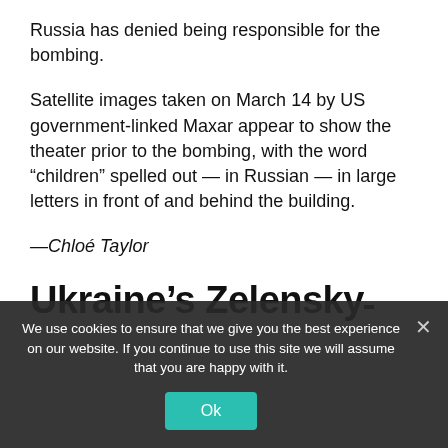Russia has denied being responsible for the bombing.
Satellite images taken on March 14 by US government-linked Maxar appear to show the theater prior to the bombing, with the word “children” spelled out — in Russian — in large letters in front of and behind the building.
—Chloé Taylor
Ukraine’s Zelenskyy:
We use cookies to ensure that we give you the best experience on our website. If you continue to use this site we will assume that you are happy with it.